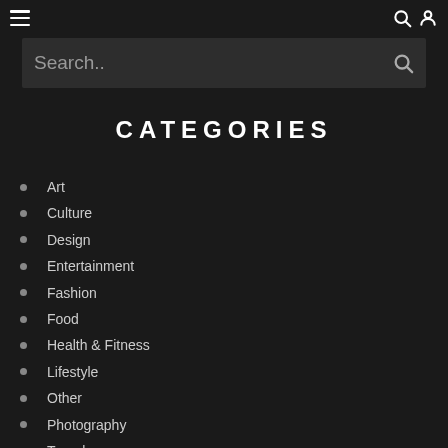Navigation header with hamburger menu, search icon, and user icon
Search..
CATEGORIES
Art
Culture
Design
Entertainment
Fashion
Food
Health & Fitness
Lifestyle
Other
Photography
Travel